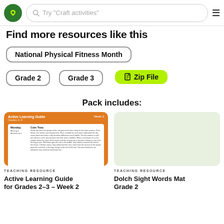Try "Craft activities"
Find more resources like this
National Physical Fitness Month
Grade 2
Grade 3
Zip File
Pack includes:
[Figure (screenshot): Active Learning Guide for Grades 2-3, Week 2 thumbnail showing Monday - Moving in Mathematics and Coin Toss activity]
TEACHING RESOURCE
Active Learning Guide for Grades 2-3 - Week 2
[Figure (screenshot): Light green placeholder thumbnail for Dolch Sight Words Mat]
TEACHING RESOURCE
Dolch Sight Words Mat Grade 2